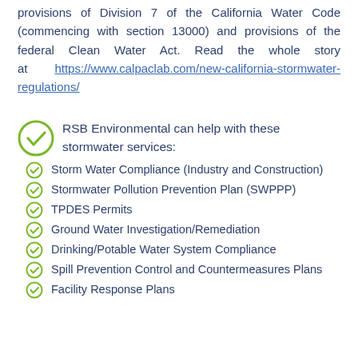provisions of Division 7 of the California Water Code (commencing with section 13000) and provisions of the federal Clean Water Act. Read the whole story at https://www.calpaclab.com/new-california-stormwater-regulations/
RSB Environmental can help with these stormwater services:
Storm Water Compliance (Industry and Construction)
Stormwater Pollution Prevention Plan (SWPPP)
TPDES Permits
Ground Water Investigation/Remediation
Drinking/Potable Water System Compliance
Spill Prevention Control and Countermeasures Plans
Facility Response Plans